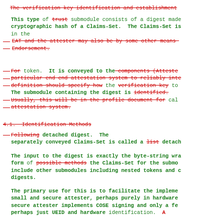The verification key identification and establishment
This type of [trust struck] submodule consists of a digest made cryptographic hash of a Claims-Set. The Claims-Set is in the EAT and the attester may also be by some other means [struck] Endorsement.
[For struck] token. It is conveyed to the [components (Atteste struck] [particular end end attestation system to reliably inte struck] [definition should specify how struck] the [verification key struck] to The submodule containing the digest is [identified struck]. [Usually, this will be in the profile document for struck] cal [attestation system struck].
4.1. Identification Methods
[Following struck] detached digest. The separately conveyed Claims-Set is called a [list struck] detach
The input to the digest is exactly the byte-string wra form of [possible methods struck] the Claims-Set for the submo include other submodules including nested tokens and c digests.
The primary use for this is to facilitate the impleme small and secure attester, perhaps purely in hardware secure attester implements COSE signing and only a fe perhaps just UEID and hardware identification. A